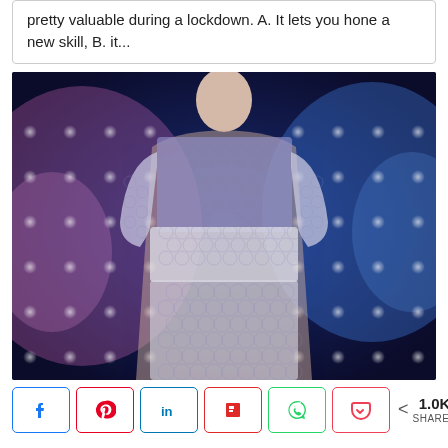pretty valuable during a lockdown. A. It lets you hone a new skill, B. it...
[Figure (photo): A person wearing a shirt made of bubble wrap, posed against a colorful stage-light background with blue, purple and pink hues.]
< 1.0K SHARES (social share buttons: Facebook, Pinterest, LinkedIn, Flipboard, WhatsApp, Pocket)